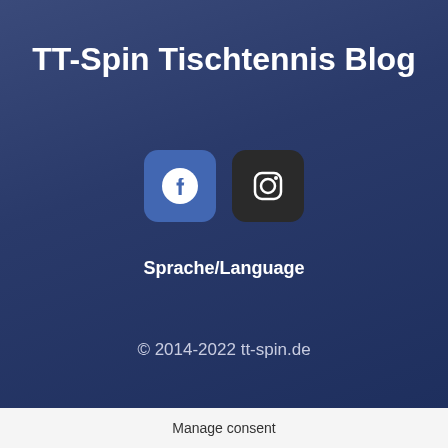TT-Spin Tischtennis Blog
[Figure (illustration): Social media icons: Facebook (blue rounded square) and Instagram (dark rounded square) side by side]
Sprache/Language
© 2014-2022 tt-spin.de
Manage consent